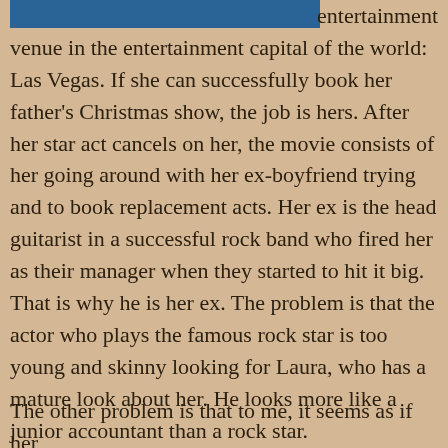[Figure (other): A partial image/screenshot with blue background at the top left of the page]
entertainment venue in the entertainment capital of the world: Las Vegas. If she can successfully book her father's Christmas show, the job is hers. After her star act cancels on her, the movie consists of her going around with her ex-boyfriend trying and to book replacement acts. Her ex is the head guitarist in a successful rock band who fired her as their manager when they started to hit it big. That is why he is her ex. The problem is that the actor who plays the famous rock star is too young and skinny looking for Laura, who has a mature look about her. He looks more like a junior accountant than a rock star.
The other problem is that to me, it seems as if her